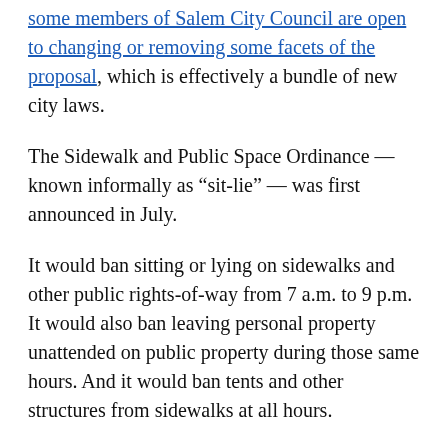some members of Salem City Council are open to changing or removing some facets of the proposal, which is effectively a bundle of new city laws.
The Sidewalk and Public Space Ordinance — known informally as “sit-lie” — was first announced in July.
It would ban sitting or lying on sidewalks and other public rights-of-way from 7 a.m. to 9 p.m. It would also ban leaving personal property unattended on public property during those same hours. And it would ban tents and other structures from sidewalks at all hours.